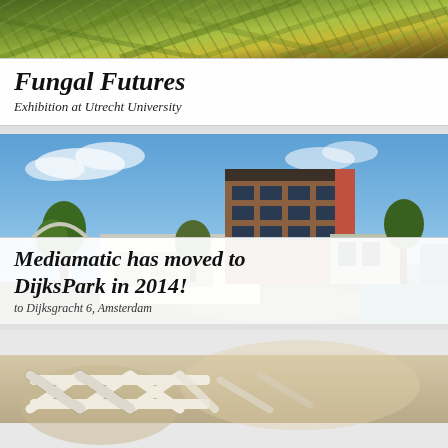[Figure (photo): Top decorative image strip showing green/yellow leaf or plant textures from above]
Fungal Futures
Exhibition at Utrecht University
[Figure (photo): Photograph of a modern multi-story building (Mediamatic at DijksPark) with brick and glass facade, blue sky, trees, and water visible]
Mediamatic has moved to DijksPark in 2014!
to Dijksgracht 6, Amsterdam
[Figure (photo): Close-up photo of white structural lattice or scaffolding elements, blurred background]